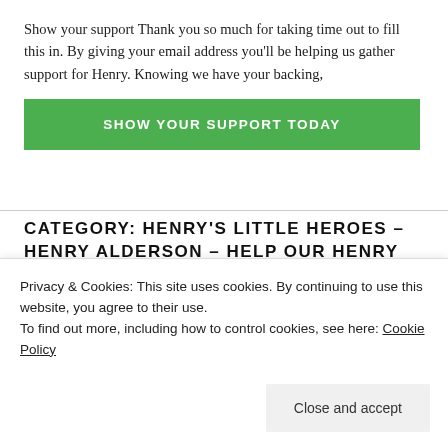Show your support Thank you so much for taking time out to fill this in. By giving your email address you'll be helping us gather support for Henry. Knowing we have your backing,
SHOW YOUR SUPPORT TODAY
CATEGORY: HENRY'S LITTLE HEROES – HENRY ALDERSON – HELP OUR HENRY
JANUARY 9, 2018
Privacy & Cookies: This site uses cookies. By continuing to use this website, you agree to their use.
To find out more, including how to control cookies, see here: Cookie Policy
Close and accept